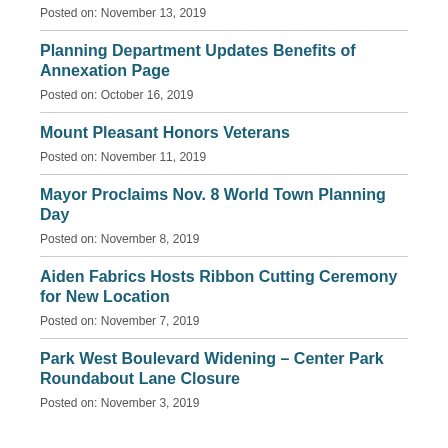Posted on: November 13, 2019
Planning Department Updates Benefits of Annexation Page
Posted on: October 16, 2019
Mount Pleasant Honors Veterans
Posted on: November 11, 2019
Mayor Proclaims Nov. 8 World Town Planning Day
Posted on: November 8, 2019
Aiden Fabrics Hosts Ribbon Cutting Ceremony for New Location
Posted on: November 7, 2019
Park West Boulevard Widening – Center Park Roundabout Lane Closure
Posted on: November 3, 2019